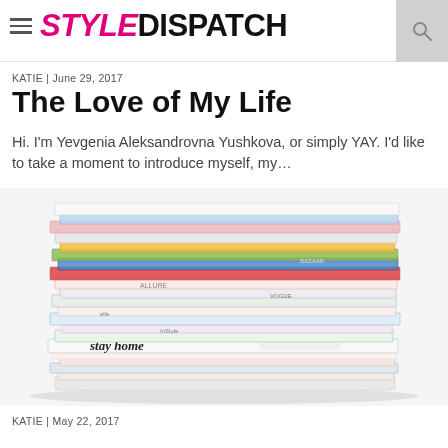STYLE DISPATCH
KATIE | June 29, 2017
The Love of My Life
Hi. I'm Yevgenia Aleksandrovna Yushkova, or simply YAY. I'd like to take a moment to introduce myself, my...
[Figure (photo): A large stack of magazines and newspapers piled on top of each other, with visible text including 'stay home' on one of the lower magazines]
KATIE | May 22, 2017